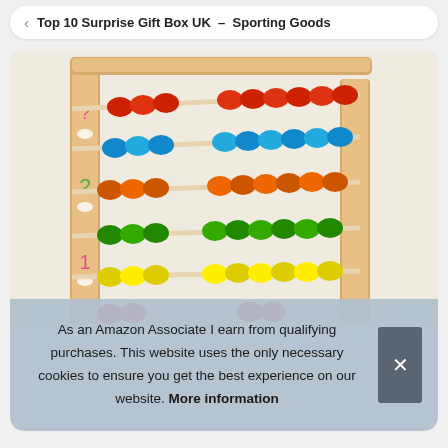Top 10 Surprise Gift Box UK – Sporting Goods
[Figure (photo): Colorful wooden children's abacus with rainbow-colored beads (red, blue, orange, green, yellow) on wooden rods, with decorative number prints on the side frame.]
As an Amazon Associate I earn from qualifying purchases. This website uses the only necessary cookies to ensure you get the best experience on our website. More information